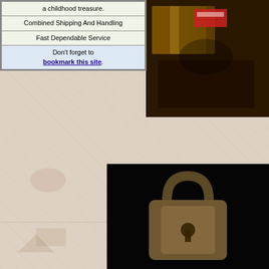[Figure (photo): Collage background of vintage toys and collectibles, faded/washed out appearance covering the full page]
| a childhood treasure. |
| Combined Shipping And Handling |
| Fast Dependable Service |
| Don't forget to bookmark this site. |
[Figure (photo): Close-up photo of what appears to be old books or wooden objects, dark brownish tones, top-right corner]
[Figure (photo): Close-up photo of what appears to be an old padlock or metal artifact on dark background, bottom-right corner]